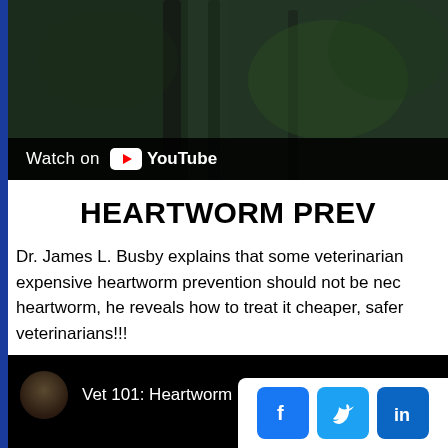[Figure (screenshot): YouTube video embed showing dark forest/trees background with 'Watch on YouTube' button overlay at bottom left]
HEARTWORM PREV
Dr. James L. Busby explains that some veterinarians expensive heartworm prevention should not be nec heartworm, he reveals how to treat it cheaper, safer veterinarians!!!
[Figure (screenshot): YouTube video thumbnail showing 'Vet 101: Heartworm' with avatar circle and social media icons (Facebook, Twitter, LinkedIn) overlay]